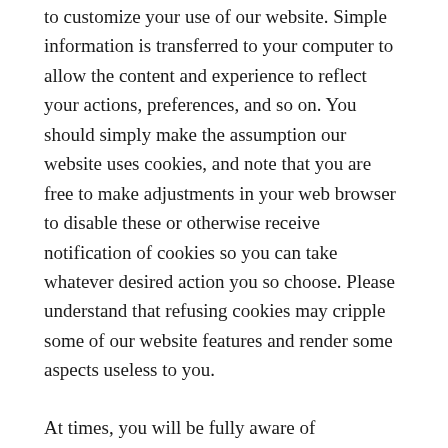to customize your use of our website. Simple information is transferred to your computer to allow the content and experience to reflect your actions, preferences, and so on. You should simply make the assumption our website uses cookies, and note that you are free to make adjustments in your web browser to disable these or otherwise receive notification of cookies so you can take whatever desired action you so choose. Please understand that refusing cookies may cripple some of our website features and render some aspects useless to you.
At times, you will be fully aware of information received, as you are the direct source providing it. For instance, you may comment on a blog post, reply to an email (whether broadcast message or autoresponder), provide an email address, complete a survey, requests SMS, or otherwise. Likewise, purchases necessarily involve collecting certain information, such as credit card information, Paypal